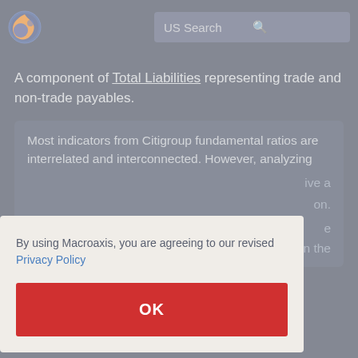US Search
A component of Total Liabilities representing trade and non-trade payables.
Most indicators from Citigroup fundamental ratios are interrelated and interconnected. However, analyzing ...ive a ...on.
By using Macroaxis, you are agreeing to our revised Privacy Policy
OK
...e ...n the
...e significantly based on the last few years of reporting...